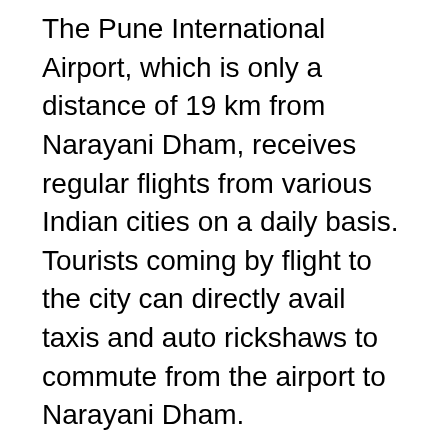The Pune International Airport, which is only a distance of 19 km from Narayani Dham, receives regular flights from various Indian cities on a daily basis. Tourists coming by flight to the city can directly avail taxis and auto rickshaws to commute from the airport to Narayani Dham.
Same services are available from the Pune Railway Station and Maharashtra State Road Transport Bus Depot, which are at a distance of approximately 11.7 km and 11.4 km, respectively from Naryani Dham. Tourists staying in hotels in Pune too can avail private taxis from top car rental companies in Pune and auto rickshaw service to head to this